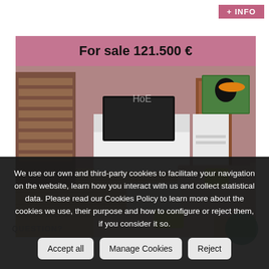+ INFO
[Figure (photo): Interior photo of a living room for sale at 121.500 €, showing pink walls, wooden staircase, TV unit, sofa, and toucan painting. Pink price banner overlay reads 'For sale 121.500 €'.]
We use our own and third-party cookies to facilitate your navigation on the website, learn how you interact with us and collect statistical data. Please read our Cookies Policy to learn more about the cookies we use, their purpose and how to configure or reject them, if you consider it so.
Accept all
Manage Cookies
Reject